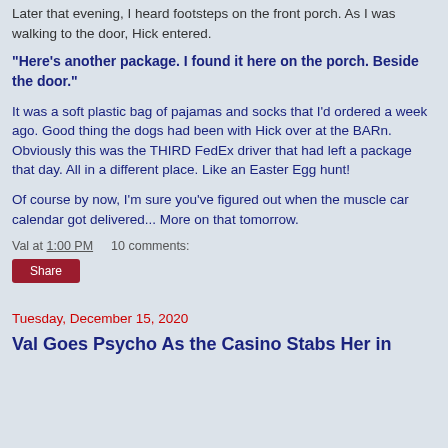Later that evening, I heard footsteps on the front porch. As I was walking to the door, Hick entered.
"Here's another package. I found it here on the porch. Beside the door."
It was a soft plastic bag of pajamas and socks that I'd ordered a week ago. Good thing the dogs had been with Hick over at the BARn. Obviously this was the THIRD FedEx driver that had left a package that day. All in a different place. Like an Easter Egg hunt!
Of course by now, I'm sure you've figured out when the muscle car calendar got delivered... More on that tomorrow.
Val at 1:00 PM    10 comments:
Share
Tuesday, December 15, 2020
Val Goes Psycho As the Casino Stabs Her in